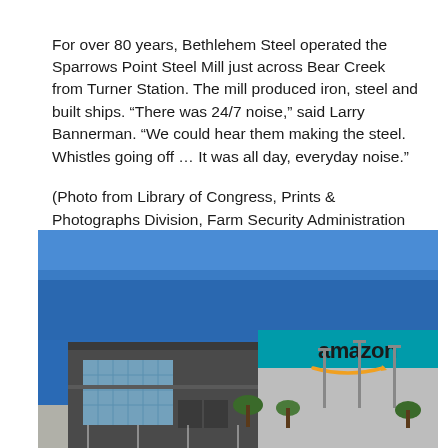For over 80 years, Bethlehem Steel operated the Sparrows Point Steel Mill just across Bear Creek from Turner Station. The mill produced iron, steel and built ships. “There was 24/7 noise,” said Larry Bannerman. “We could hear them making the steel. Whistles going off … It was all day, everyday noise.”
(Photo from Library of Congress, Prints & Photographs Division, Farm Security Administration Office of War Information Black-and-White Negatives)
[Figure (photo): Exterior photo of an Amazon fulfillment center/warehouse building. The building has a dark gray modern entrance section on the left and a large teal/cyan-colored warehouse wall on the right with the Amazon logo and smile arrow. The sky above is a vivid blue with no clouds. Street lamps are visible in the parking lot area in front.]